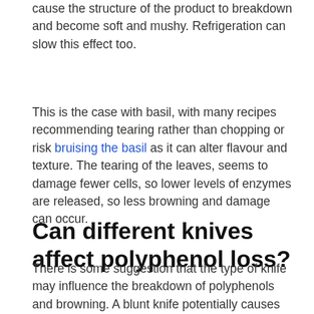cause the structure of the product to breakdown and become soft and mushy. Refrigeration can slow this effect too.
This is the case with basil, with many recipes recommending tearing rather than chopping or risk bruising the basil as it can alter flavour and texture. The tearing of the leaves, seems to damage fewer cells, so lower levels of enzymes are released, so less browning and damage can occur.
Can different knives affect polyphenol loss?
There is some suggestion that the type of knife may influence the breakdown of polyphenols and browning. A blunt knife potentially causes more damage to the cells, suggesting a blade should be sharp. So it might be better to